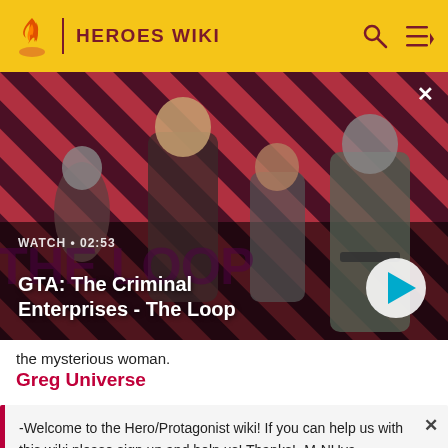HEROES WIKI
[Figure (screenshot): GTA: The Criminal Enterprises - The Loop video thumbnail showing four characters on a red diagonal-striped background. WATCH • 02:53 label and play button visible.]
the mysterious woman.
Greg Universe
-Welcome to the Hero/Protagonist wiki! If you can help us with this wiki please sign up and help us! Thanks! -M-NUva